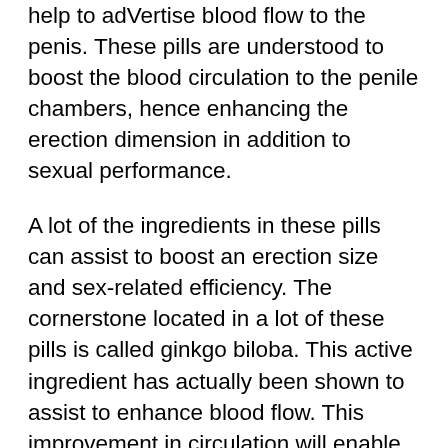help to adVertise blood flow to the penis. These pills are understood to boost the blood circulation to the penile chambers, hence enhancing the erection dimension in addition to sexual performance.
A lot of the ingredients in these pills can assist to boost an erection size and sex-related efficiency. The cornerstone located in a lot of these pills is called ginkgo biloba. This active ingredient has actually been shown to assist to enhance blood flow. This improvement in circulation will enable you to have a bigger penis size and have the ability to have longer and also more powerful erections. This can additionally aid you to be able to have longer sexual orgasms.